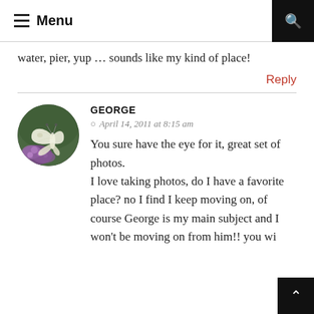≡ Menu
water, pier, yup … sounds like my kind of place!
Reply
GEORGE
April 14, 2011 at 8:15 am
[Figure (photo): Circular avatar photo of a white butterfly resting on purple flowers against a green background]
You sure have the eye for it, great set of photos.
I love taking photos, do I have a favorite place? no I find I keep moving on, of course George is my main subject and I won't be moving on from him!! you wi... (truncated)